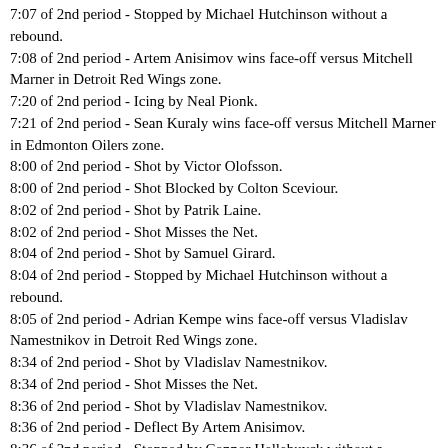7:07 of 2nd period - Stopped by Michael Hutchinson without a rebound.
7:08 of 2nd period - Artem Anisimov wins face-off versus Mitchell Marner in Detroit Red Wings zone.
7:20 of 2nd period - Icing by Neal Pionk.
7:21 of 2nd period - Sean Kuraly wins face-off versus Mitchell Marner in Edmonton Oilers zone.
8:00 of 2nd period - Shot by Victor Olofsson.
8:00 of 2nd period - Shot Blocked by Colton Sceviour.
8:02 of 2nd period - Shot by Patrik Laine.
8:02 of 2nd period - Shot Misses the Net.
8:04 of 2nd period - Shot by Samuel Girard.
8:04 of 2nd period - Stopped by Michael Hutchinson without a rebound.
8:05 of 2nd period - Adrian Kempe wins face-off versus Vladislav Namestnikov in Detroit Red Wings zone.
8:34 of 2nd period - Shot by Vladislav Namestnikov.
8:34 of 2nd period - Shot Misses the Net.
8:36 of 2nd period - Shot by Vladislav Namestnikov.
8:36 of 2nd period - Deflect By Artem Anisimov.
8:36 of 2nd period - Stopped by Connor Hellebuyck without a rebound.
8:37 of 2nd period - Kyle Turris wins face-off versus Yegor Sharangovich in Edmonton Oilers zone.
8:40 of 2nd period - Shot by Tyler Johnson.